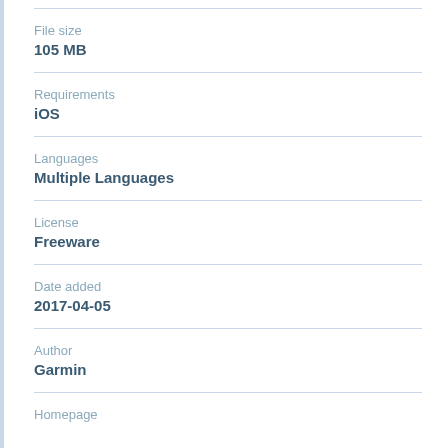File size
105 MB
Requirements
iOS
Languages
Multiple Languages
License
Freeware
Date added
2017-04-05
Author
Garmin
Homepage